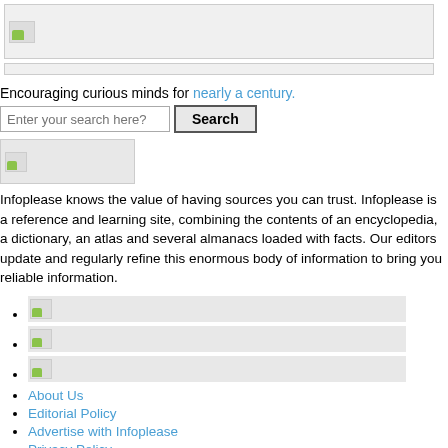[Figure (screenshot): Gray banner/ad placeholder box at top of page]
[Figure (screenshot): Thin gray navigation bar below banner]
Encouraging curious minds for nearly a century.
[Figure (screenshot): Search bar with 'Enter your search here?' placeholder and 'Search' button]
[Figure (logo): Infoplease logo placeholder image (broken image icon)]
Infoplease knows the value of having sources you can trust. Infoplease is a reference and learning site, combining the contents of an encyclopedia, a dictionary, an atlas and several almanacs loaded with facts. Our editors update and regularly refine this enormous body of information to bring you reliable information.
[image placeholder]
[image placeholder]
[image placeholder]
About Us
Editorial Policy
Advertise with Infoplease
Privacy Policy